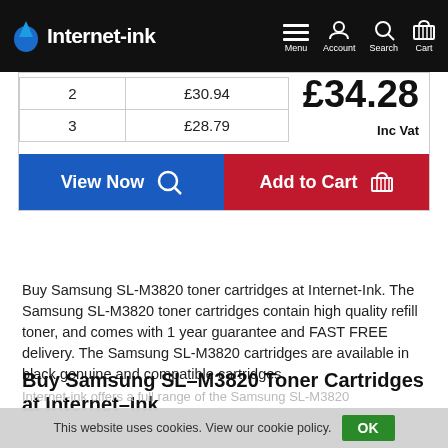Internet-ink | Menu | Account | Search | Cart
| 2 | £30.94 |
| 3 | £28.79 |
£34.28 Inc Vat
View Now
Add to Cart
Buy Samsung SL-M3820 toner cartridges at Internet-Ink. The Samsung SL-M3820 toner cartridges contain high quality refill toner, and comes with 1 year guarantee and FAST FREE delivery. The Samsung SL-M3820 cartridges are available in black genuine and compatible cartridges.
Buy Samsung SL-M3820 Toner Cartridges at Internet-Ink
This website uses cookies. View our cookie policy. OK
Internet-ink offers a full range of the Samsung SL-M3820